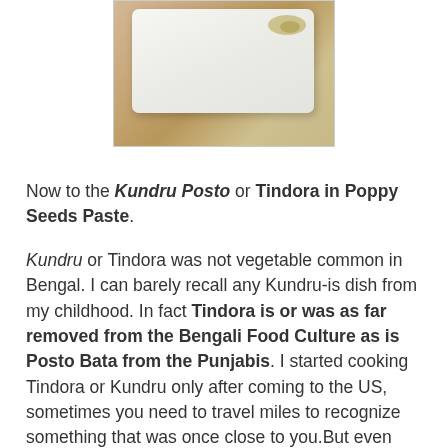[Figure (photo): Photo of a dish on a white plate, placed on a wooden/bamboo surface, partially cropped at top]
Now to the Kundru Posto or Tindora in Poppy Seeds Paste.
Kundru or Tindora was not vegetable common in Bengal. I can barely recall any Kundru-is dish from my childhood. In fact Tindora is or was as far removed from the Bengali Food Culture as is Posto Bata from the Punjabis. I started cooking Tindora or Kundru only after coming to the US, sometimes you need to travel miles to recognize something that was once close to you.But even then I made it not too often.
When I saw Sharmila's Kundru Sabzi, I loved the idea of tossing the vegetable with so many spices and then cooking it. And then I also loved how a friend made fried Tindora with